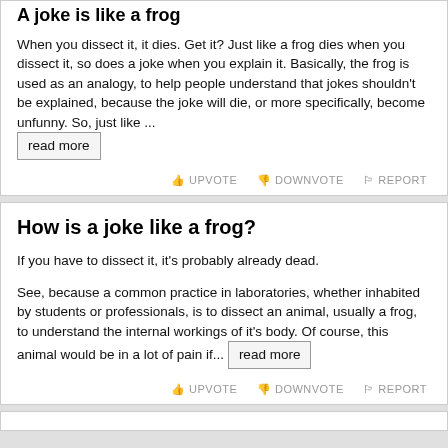A joke is like a frog
When you dissect it, it dies. Get it? Just like a frog dies when you dissect it, so does a joke when you explain it. Basically, the frog is used as an analogy, to help people understand that jokes shouldn't be explained, because the joke will die, or more specifically, become unfunny. So, just like ... read more
UPVOTE DOWNVOTE REPORT
How is a joke like a frog?
If you have to dissect it, it's probably already dead.
See, because a common practice in laboratories, whether inhabited by students or professionals, is to dissect an animal, usually a frog, to understand the internal workings of it's body. Of course, this animal would be in a lot of pain if... read more
UPVOTE DOWNVOTE REPORT